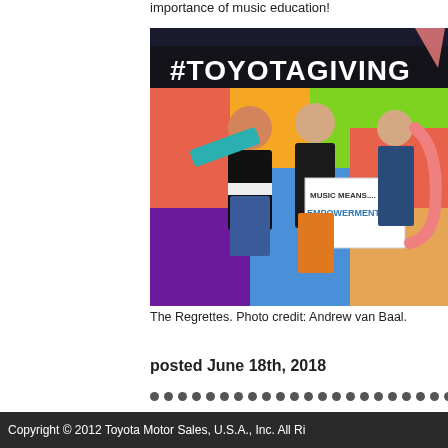importance of music education!
[Figure (photo): Photo of The Regrettes band members posing in front of a #TOYOTAGIVING mural backdrop, holding colorful instruments including a teal trumpet and pink saxophone. One member holds a sign reading 'MUSIC MEANS.... EMPOWERMENT'.]
The Regrettes. Photo credit: Andrew van Baal.
posted June 18th, 2018
Copyright © 2012 Toyota Motor Sales, U.S.A., Inc. All Ri